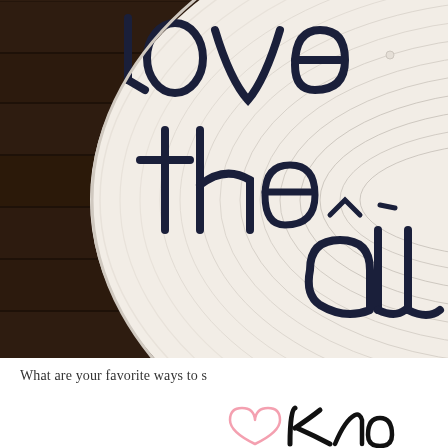[Figure (photo): A wide-brim white straw hat with dark navy yarn/thread lettering reading 'love all' placed on a dark wood floor surface. The hat brim fills most of the frame, shot from above.]
What are your favorite ways to s
[Figure (illustration): A partial pink hand-drawn heart outline with stylized cursive/script text beginning below it, partially cut off at page edge.]